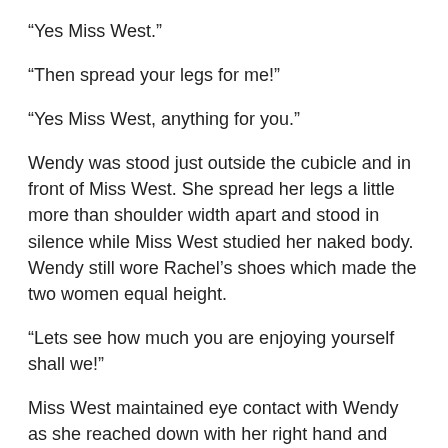“Yes Miss West.”
“Then spread your legs for me!”
“Yes Miss West, anything for you.”
Wendy was stood just outside the cubicle and in front of Miss West. She spread her legs a little more than shoulder width apart and stood in silence while Miss West studied her naked body. Wendy still wore Rachel’s shoes which made the two women equal height.
“Lets see how much you are enjoying yourself shall we!”
Miss West maintained eye contact with Wendy as she reached down with her right hand and began to touch Wendy’s vagina. She cupped it at first and